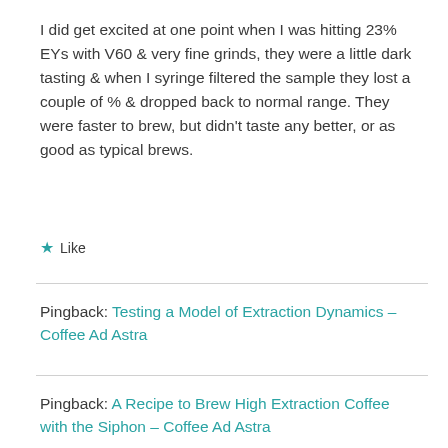I did get excited at one point when I was hitting 23% EYs with V60 & very fine grinds, they were a little dark tasting & when I syringe filtered the sample they lost a couple of % & dropped back to normal range. They were faster to brew, but didn't taste any better, or as good as typical brews.
★ Like
Pingback: Testing a Model of Extraction Dynamics – Coffee Ad Astra
Pingback: A Recipe to Brew High Extraction Coffee with the Siphon – Coffee Ad Astra